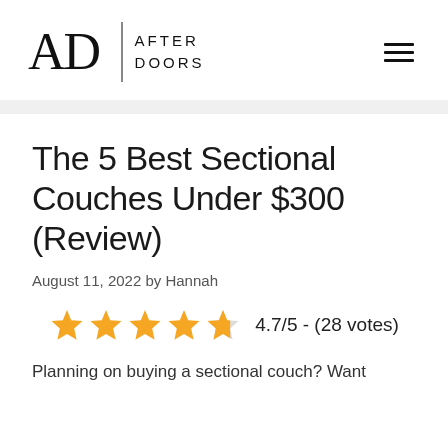AD | AFTER DOORS
The 5 Best Sectional Couches Under $300 (Review)
August 11, 2022 by Hannah
4.7/5 - (28 votes)
Planning on buying a sectional couch? Want